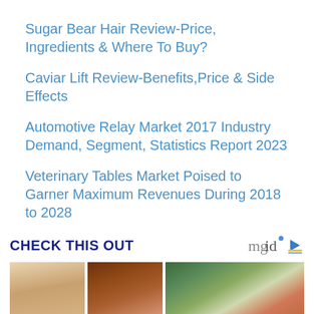Sugar Bear Hair Review-Price, Ingredients & Where To Buy?
Caviar Lift Review-Benefits,Price & Side Effects
Automotive Relay Market 2017 Industry Demand, Segment, Statistics Report 2023
Veterinary Tables Market Poised to Garner Maximum Revenues During 2018 to 2028
CHECK THIS OUT
[Figure (photo): Three photos side by side: a young smiling girl, a teenage girl with red-brown hair, and a man with an open-mouthed expression outdoors near a fountain]
[Figure (logo): mgid logo with play button icon]